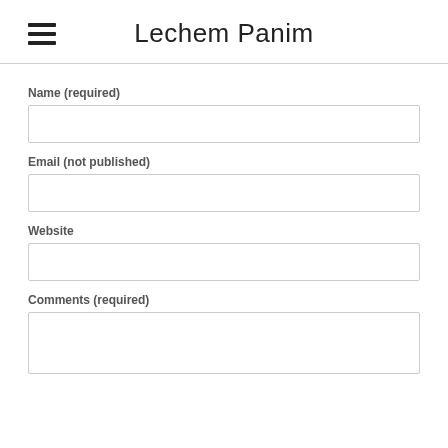Lechem Panim
Name (required)
Email (not published)
Website
Comments (required)